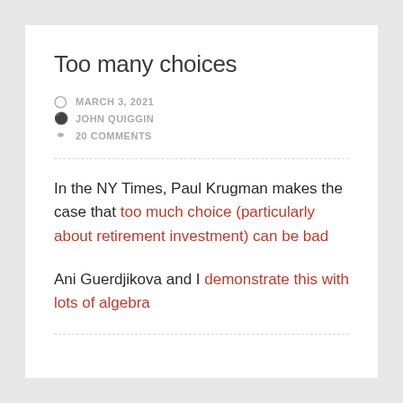Too many choices
MARCH 3, 2021
JOHN QUIGGIN
20 COMMENTS
In the NY Times, Paul Krugman makes the case that too much choice (particularly about retirement investment) can be bad
Ani Guerdjikova and I demonstrate this with lots of algebra